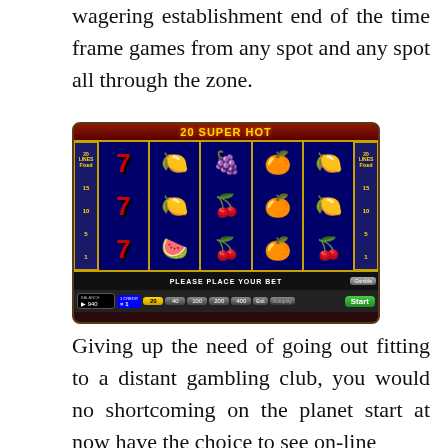wagering establishment end of the time frame games from any spot and any spot all through the zone.
[Figure (screenshot): Screenshot of '20 Super Hot' slot machine game showing 5 reels with fruit symbols (lemons, oranges, cherries, plum), number 7 symbols on the first reel, and a game interface with betting controls showing PLEASE PLACE YOUR BET bar and a Start button.]
Giving up the need of going out fitting to a distant gambling club, you would no shortcoming on the planet start at now have the choice to see on-line